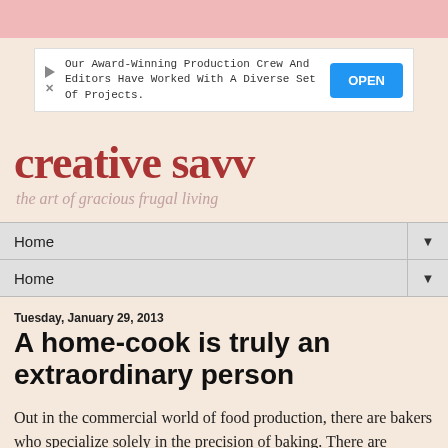[Figure (other): Pink top bar]
[Figure (other): Advertisement banner with play and X icons, text about Award-Winning Production Crew And Editors Have Worked With A Diverse Set Of Projects, and an OPEN button]
creative savv
the art of gracious frugal living
Home ▼
Home ▼
Tuesday, January 29, 2013
A home-cook is truly an extraordinary person
Out in the commercial world of food production, there are bakers who specialize solely in the precision of baking. There are confectioners, who spend their days making candy. We have companies whose only products are jams